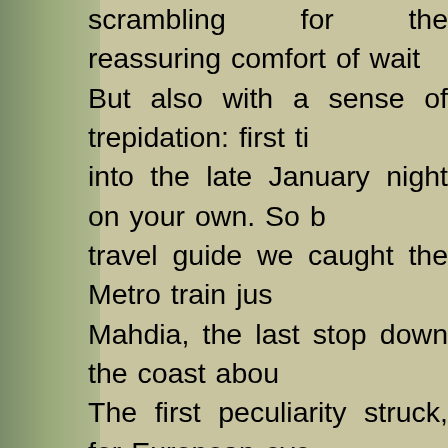scrambling for the reassuring comfort of wait... But also with a sense of trepidation: first ti... into the late January night on your own. So b... travel guide we caught the Metro train jus... Mahdia, the last stop down the coast abou... The first peculiarity struck, for European eyes... women to be seen. The next morning we headed for the 'lou... long-distance taxi) station and were surro... touting swarm of drivers. After a short wait... leave until all seats are taken – two more pa... in, off we went to Sfax, a large forgettable inc... further down the Mediterranean coast. Here... ride south to Jerba boringly took over 2 ho... fellow traveller was looking anxiously at his...